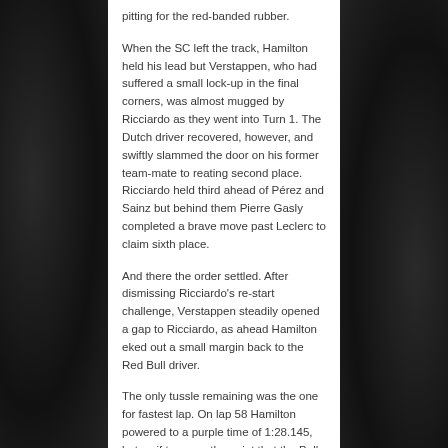pitting for the red-banded rubber.
When the SC left the track, Hamilton held his lead but Verstappen, who had suffered a small lock-up in the final corners, was almost mugged by Ricciardo as they went into Turn 1. The Dutch driver recovered, however, and swiftly slammed the door on his former team-mate to reating second place. Ricciardo held third ahead of Pérez and Sainz but behind them Pierre Gasly completed a brave move past Leclerc to claim sixth place.
And there the order settled. After dismissing Ricciardo's re-start challenge, Verstappen steadily opened a gap to Ricciardo, as ahead Hamilton eked out a small margin back to the Red Bull driver.
The only tussle remaining was the one for fastest lap. On lap 58 Hamilton powered to a purple time of 1:28.145, but as if to prove the point that the Bulls had closed in over the weekend, Verstappen